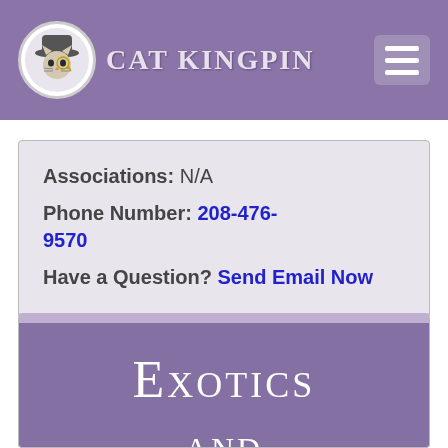CAT KINGPIN
Associations: N/A
Phone Number: 208-476-9570
Have a Question? Send Email Now
Exotics and